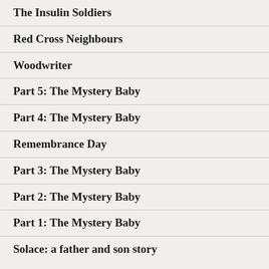The Insulin Soldiers
Red Cross Neighbours
Woodwriter
Part 5: The Mystery Baby
Part 4: The Mystery Baby
Remembrance Day
Part 3: The Mystery Baby
Part 2: The Mystery Baby
Part 1: The Mystery Baby
Solace: a father and son story